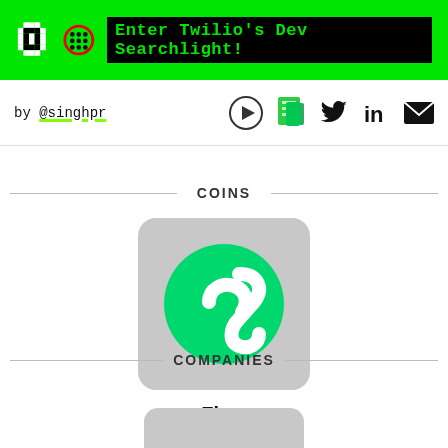Enter Twilio's Dev Searchlight!
by @singhpr
COINS
[Figure (logo): Flow cryptocurrency logo: green circle with white stylized 'f' letter on gray rounded square background]
Flow
COMPANIES
[Figure (other): Partially visible company logo card at bottom of page, gray rounded rectangle]